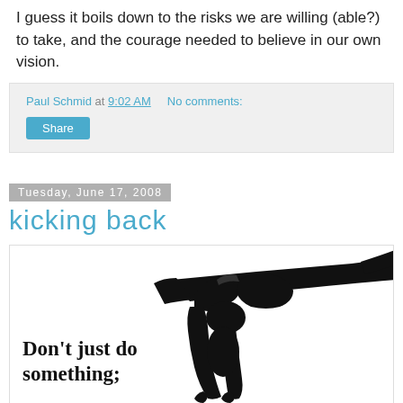I guess it boils down to the risks we are willing (able?) to take, and the courage needed to believe in our own vision.
Paul Schmid at 9:02 AM   No comments:
Share
Tuesday, June 17, 2008
kicking back
[Figure (illustration): Silhouette illustration of a sloth hanging from a branch, with text 'Don't just do something;' visible at bottom left]